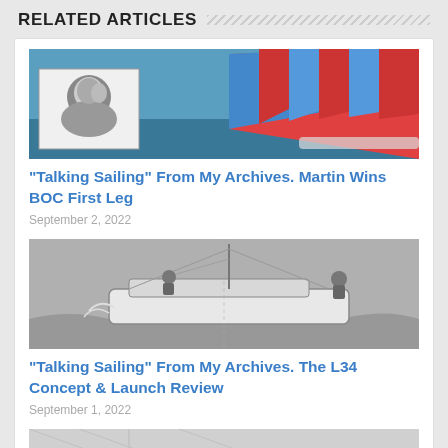RELATED ARTICLES
[Figure (photo): Composite image with a black-and-white portrait of a man on the left and a colorful sailing boat with red and blue striped spinnaker sail on the right]
“Talking Sailing” From My Archives. Martin Wins BOC First Leg
September 2, 2022
[Figure (photo): Black-and-white photograph of a sailing yacht in rough seas with crew members visible]
“Talking Sailing” From My Archives. The L34 Concept & Launch Review
September 1, 2022
[Figure (photo): Partially visible third article image at the bottom of the page]